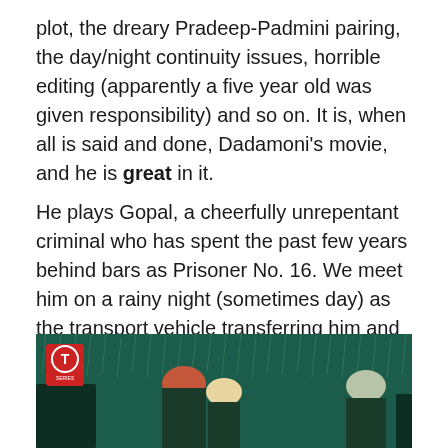plot, the dreary Pradeep-Padmini pairing, the day/night continuity issues, horrible editing (apparently a five year old was given responsibility) and so on. It is, when all is said and done, Dadamoni's movie, and he is great in it.
He plays Gopal, a cheerfully unrepentant criminal who has spent the past few years behind bars as Prisoner No. 16. We meet him on a rainy night (sometimes day) as the transport vehicle transferring him and others to a different jail meets with an accident. Hilariously, the other prisoners stay put in a very docile manner until the police arrive—but not Gopal.
[Figure (photo): Dark teal-green scene still from a film showing prisoners in turbans/headwear in a rainy night scene. T-Series logo (red rectangle with T in white circle) visible in top left corner.]